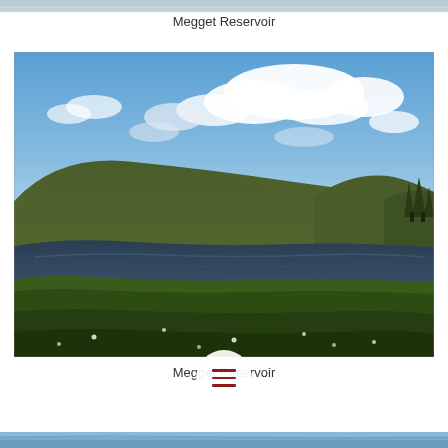[Figure (photo): Partial top strip of a landscape photo, appears to be water/sky at the very top edge of the page]
Megget Reservoir
[Figure (photo): Photograph of Megget Reservoir showing a large body of water surrounded by green rolling hills under a partly cloudy blue sky, with green grassy foreground]
Megget Reservoir
[Figure (photo): Partial bottom strip of another landscape photo visible at the very bottom of the page]